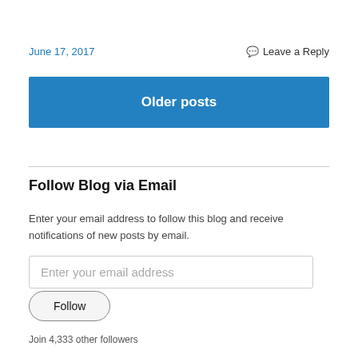June 17, 2017
Leave a Reply
Older posts
Follow Blog via Email
Enter your email address to follow this blog and receive notifications of new posts by email.
Enter your email address
Follow
Join 4,333 other followers